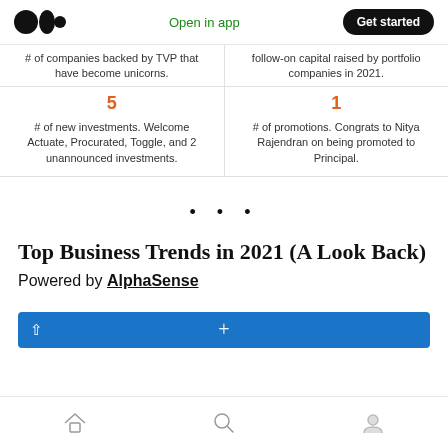Open in app | Get started
# of companies backed by TVP that have become unicorns.
follow-on capital raised by portfolio companies in 2021.
5
# of new investments. Welcome Actuate, Procurated, Toggle, and 2 unannounced investments.
1
# of promotions. Congrats to Nitya Rajendran on being promoted to Principal.
· · ·
Top Business Trends in 2021 (A Look Back)
Powered by AlphaSense
[Figure (other): Blue banner with plus sign and a white arrow, partial view of an interactive element]
Home | Search | Profile navigation icons